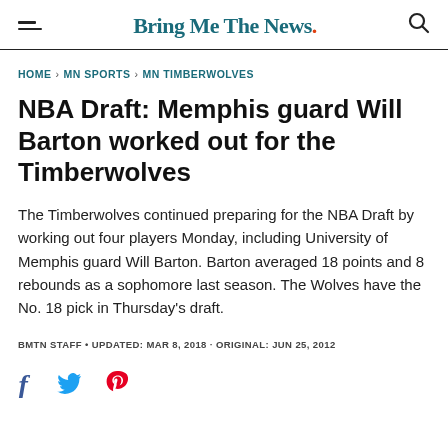Bring Me The News.
HOME > MN SPORTS > MN TIMBERWOLVES
NBA Draft: Memphis guard Will Barton worked out for the Timberwolves
The Timberwolves continued preparing for the NBA Draft by working out four players Monday, including University of Memphis guard Will Barton. Barton averaged 18 points and 8 rebounds as a sophomore last season. The Wolves have the No. 18 pick in Thursday's draft.
BMTN STAFF • UPDATED: MAR 8, 2018 · ORIGINAL: JUN 25, 2012